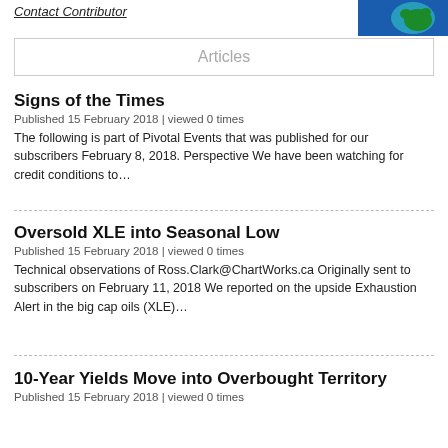Contact Contributor
[Figure (illustration): Globe image with blue background showing green landmass]
| Articles |
| --- |
Signs of the Times
Published 15 February 2018 | viewed 0 times
The following is part of Pivotal Events that was published for our subscribers February 8, 2018. Perspective We have been watching for credit conditions to…
Oversold XLE into Seasonal Low
Published 15 February 2018 | viewed 0 times
Technical observations of Ross.Clark@ChartWorks.ca Originally sent to subscribers on February 11, 2018 We reported on the upside Exhaustion Alert in the big cap oils (XLE)…
10-Year Yields Move into Overbought Territory
Published 15 February 2018 | viewed 0 times